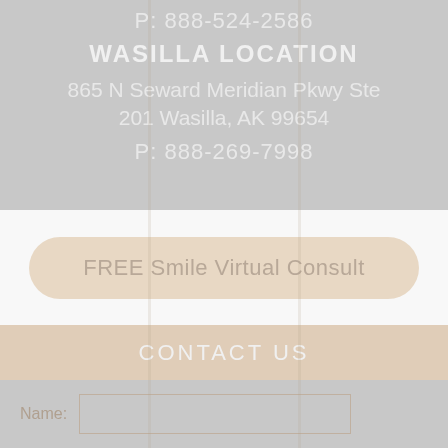P: 888-524-2586
WASILLA LOCATION
865 N Seward Meridian Pkwy Ste 201 Wasilla, AK 99654
P: 888-269-7998
FREE Smile Virtual Consult
CONTACT US
Name: